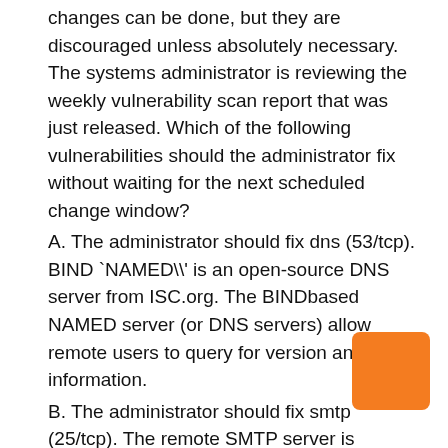changes can be done, but they are discouraged unless absolutely necessary. The systems administrator is reviewing the weekly vulnerability scan report that was just released. Which of the following vulnerabilities should the administrator fix without waiting for the next scheduled change window?
A. The administrator should fix dns (53/tcp). BIND `NAMED\' is an open-source DNS server from ISC.org. The BINDbased NAMED server (or DNS servers) allow remote users to query for version and type information.
B. The administrator should fix smtp (25/tcp). The remote SMTP server is insufficiently protected against relaying. This means spammers might be able to use the